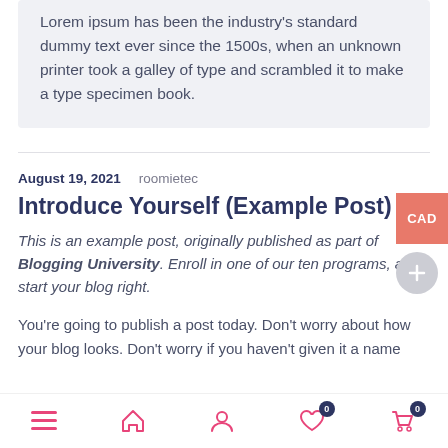Lorem ipsum has been the industry's standard dummy text ever since the 1500s, when an unknown printer took a galley of type and scrambled it to make a type specimen book.
August 19, 2021   roomietec
Introduce Yourself (Example Post)
This is an example post, originally published as part of Blogging University. Enroll in one of our ten programs, and start your blog right.
You're going to publish a post today. Don't worry about how your blog looks. Don't worry if you haven't given it a name
Navigation bar with menu, home, profile, wishlist (0), cart (0)